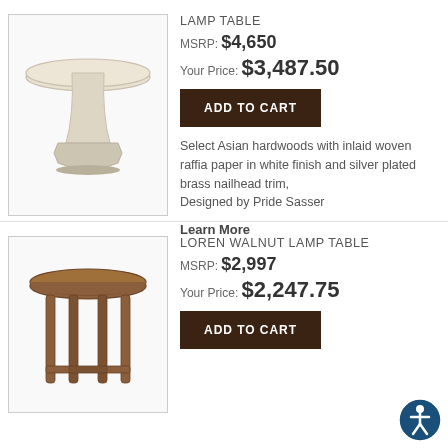[Figure (illustration): White pedestal lamp table with round top and fluted octagonal base]
LAMP TABLE
MSRP: $4,650
Your Price: $3,487.50
ADD TO CART
Select Asian hardwoods with inlaid woven raffia paper in white finish and silver plated brass nailhead trim,
Designed by Pride Sasser
Learn More
[Figure (illustration): Walnut round lamp table with slatted geometric base]
LOREN WALNUT LAMP TABLE
MSRP: $2,997
Your Price: $2,247.75
ADD TO CART